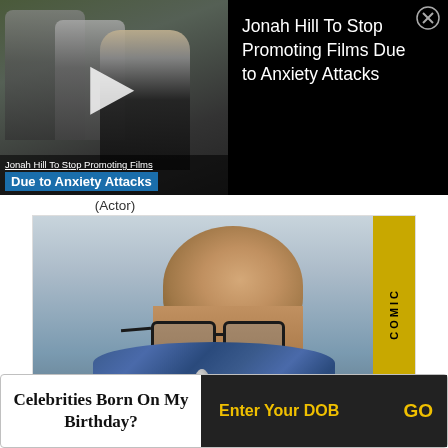[Figure (screenshot): Video thumbnail showing news story about Jonah Hill stopping film promotions due to anxiety attacks, with play button overlay and title text]
Jonah Hill To Stop Promoting Films Due to Anxiety Attacks
(Actor)
[Figure (photo): Photograph of a bald man with glasses and a beard, wearing a blue plaid shirt, speaking into a microphone at what appears to be a convention panel. A yellow banner is visible on the right side of the image.]
Celebrities Born On My Birthday?
Enter Your DOB
GO